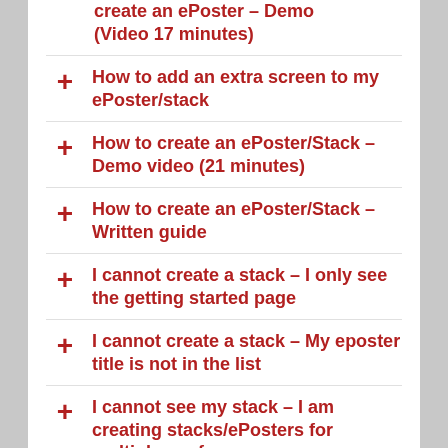create an ePoster – Demo (Video 17 minutes)
How to add an extra screen to my ePoster/stack
How to create an ePoster/Stack – Demo video (21 minutes)
How to create an ePoster/Stack – Written guide
I cannot create a stack – I only see the getting started page
I cannot create a stack – My eposter title is not in the list
I cannot see my stack – I am creating stacks/ePosters for multiple conferences